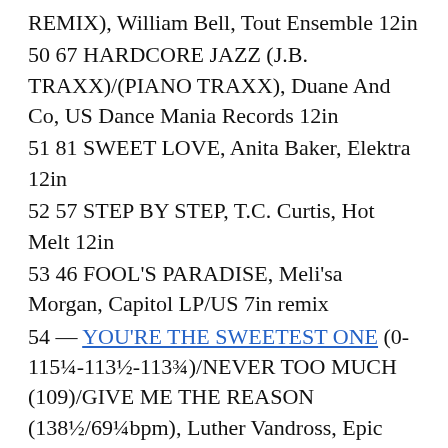REMIX), William Bell, Tout Ensemble 12in
50 67 HARDCORE JAZZ (J.B. TRAXX)/(PIANO TRAXX), Duane And Co, US Dance Mania Records 12in
51 81 SWEET LOVE, Anita Baker, Elektra 12in
52 57 STEP BY STEP, T.C. Curtis, Hot Melt 12in
53 46 FOOL'S PARADISE, Meli'sa Morgan, Capitol LP/US 7in remix
54 — YOU'RE THE SWEETEST ONE (0-115¼-113½-113¾)/NEVER TOO MUCH (109)/GIVE ME THE REASON (138½/69¼bpm), Luther Vandross, Epic 12in
55 69 IS IT LIVE/HIT IT RUN, Run-DMC, US Profile LP
56 62 STOP ME FROM STARTING THIS FEELING, Lou Rawls, Epic 12in